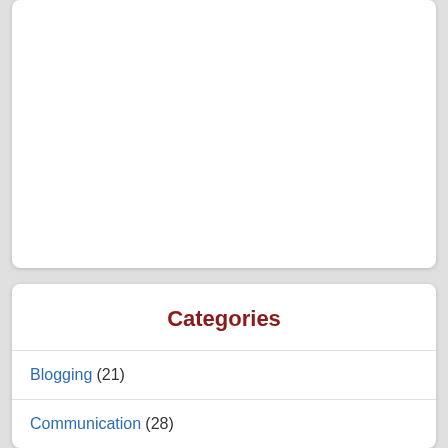Categories
Blogging (21)
Communication (28)
Leadership (547)
Personal Growth & Development (136)
Self-Care (2)
Spiritual Leadership Principles (12)